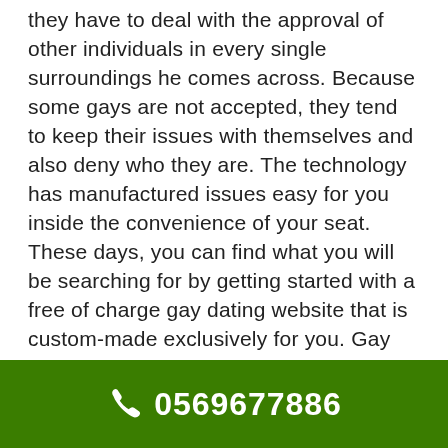they have to deal with the approval of other individuals in every single surroundings he comes across. Because some gays are not accepted, they tend to keep their issues with themselves and also deny who they are. The technology has manufactured issues easy for you inside the convenience of your seat. These days, you can find what you will be searching for by getting started with a free of charge gay dating website that is custom-made exclusively for you. Gay guys could go on the web for easy access to warm men that have similar sex fetishes and connection goals. However, with lots of gay dating sites on the web and each of them claiming to provide the best dating services, it
0569677886